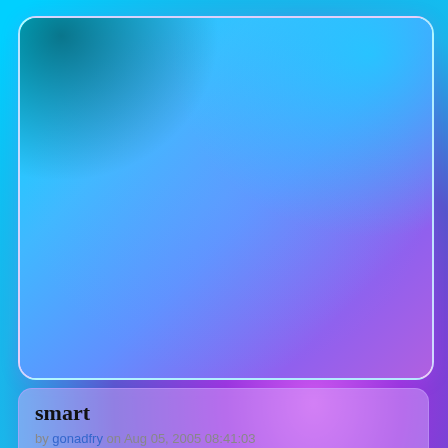[Figure (illustration): A gradient background image with cyan-to-blue-to-purple tones, displayed inside a rounded card with a white border.]
smart
by gonadfry on Aug 05, 2005 08:41:03
The opposite of George W. Bush.